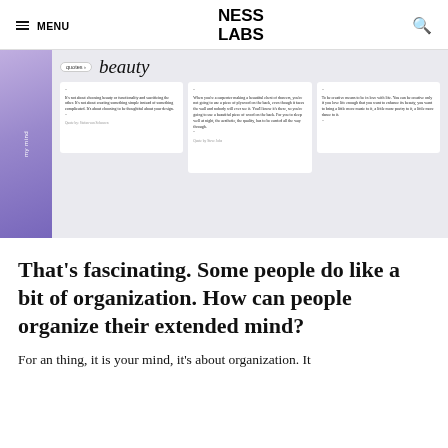MENU  NESS LABS  [search]
[Figure (screenshot): Screenshot of a web app showing a 'beauty' quotes collection with three quote cards displayed in a card layout, with a purple/lavender gradient sidebar on the left labeled 'my mind'. The quote cards contain text about beauty, creativity, and design thinking.]
That's fascinating. Some people do like a bit of organization. How can people organize their extended mind?
For an thing, it is your mind, it's about organization. It